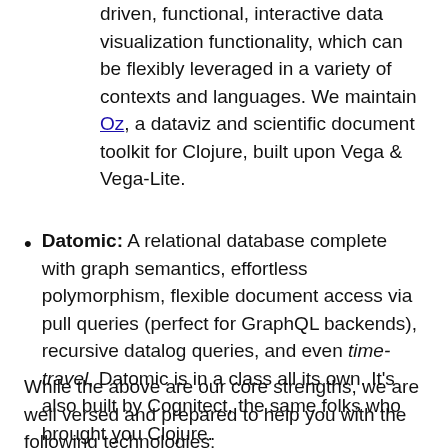driven, functional, interactive data visualization functionality, which can be flexibly leveraged in a variety of contexts and languages. We maintain Oz, a dataviz and scientific document toolkit for Clojure, built upon Vega & Vega-Lite.
Datomic: A relational database complete with graph semantics, effortless polymorphism, flexible document access via pull queries (perfect for GraphQL backends), recursive datalog queries, and even time-travel, Datomic is in a class all its own. It's also built by Cognitect, the same folks who brought you Clojure.
While the above are our core strengths, we are well versed and prepared to help you with the following technologies: